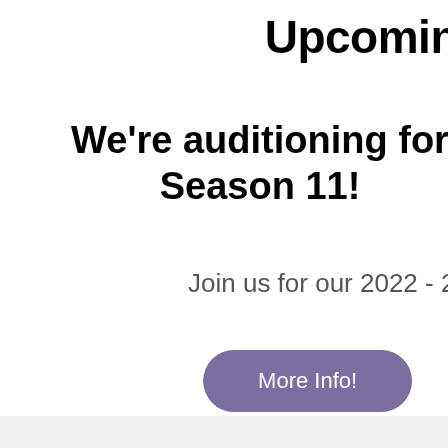Upcomin
We're auditioning for Season 11!
Join us for our 2022 - 2023 performance
More Info!